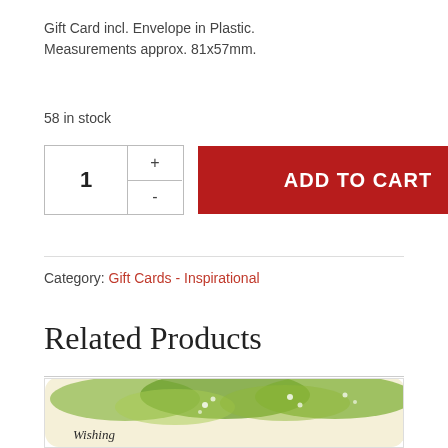Gift Card incl. Envelope in Plastic. Measurements approx. 81x57mm.
58 in stock
ADD TO CART
Category: Gift Cards - Inspirational
Related Products
[Figure (photo): Product image of a gift card with green watercolor floral/nature design and 'Wishing' text at the bottom]